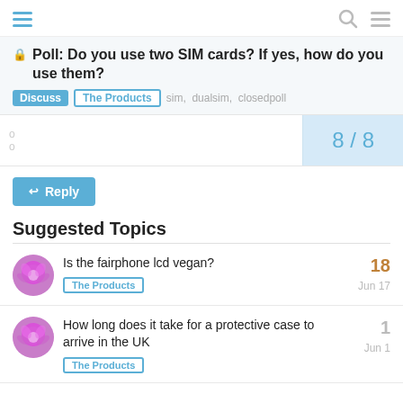Poll: Do you use two SIM cards? If yes, how do you use them?
Discuss | The Products | sim, dualsim, closedpoll
8 / 8
↩ Reply
Suggested Topics
Is the fairphone lcd vegan? — The Products — 18 — Jun 17
How long does it take for a protective case to arrive in the UK — The Products — 1 — Jun 1